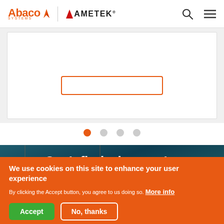Abaco Systems / AMETEK
[Figure (screenshot): Partial view of a slide/banner with an orange-bordered CTA button outline visible, on a white card over a light gray background.]
[Figure (illustration): Four carousel indicator dots: first dot is orange (active), remaining three are gray.]
[Figure (photo): Close-up photo of a circuit board with orange/teal traces, overlaid with white bold text: "Can't find what you're looking for? Need help?"]
We use cookies on this site to enhance your user experience
By clicking the Accept button, you agree to us doing so. More info
Accept
No, thanks